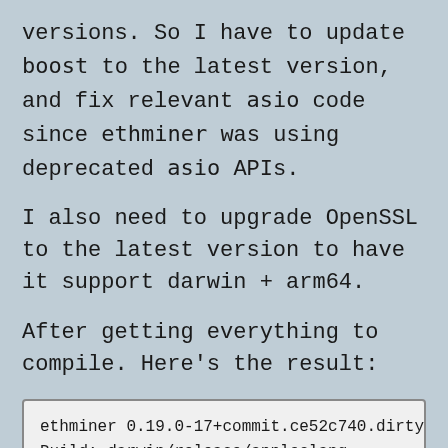versions. So I have to update boost to the latest version, and fix relevant asio code since ethminer was using deprecated asio APIs.
I also need to upgrade OpenSSL to the latest version to have it support darwin + arm64.
After getting everything to compile. Here's the result:
[Figure (screenshot): Terminal output code box showing: ethminer 0.19.0-17+commit.ce52c740.dirty, Build: darwin/release/appleclang, i 19:51:36   Configured pool eth-us-e]